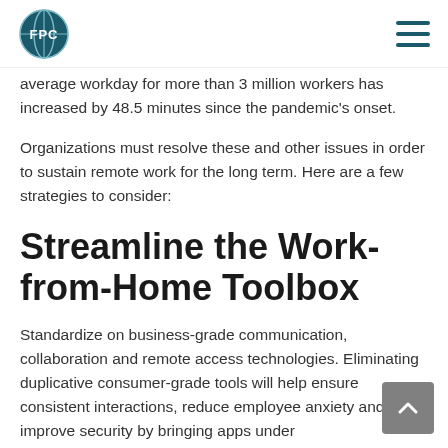FPC logo and navigation menu
average workday for more than 3 million workers has increased by 48.5 minutes since the pandemic's onset.
Organizations must resolve these and other issues in order to sustain remote work for the long term. Here are a few strategies to consider:
Streamline the Work-from-Home Toolbox
Standardize on business-grade communication, collaboration and remote access technologies. Eliminating duplicative consumer-grade tools will help ensure consistent interactions, reduce employee anxiety and improve security by bringing apps under